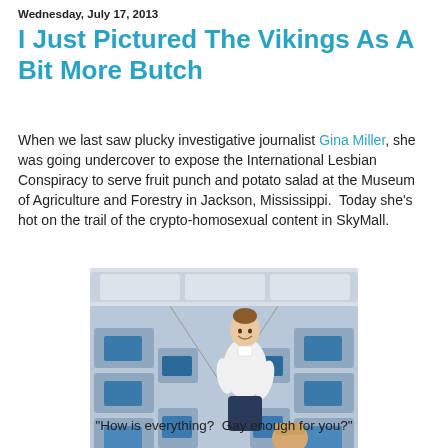Wednesday, July 17, 2013
I Just Pictured The Vikings As A Bit More Butch
When we last saw plucky investigative journalist Gina Miller, she was going undercover to expose the International Lesbian Conspiracy to serve fruit punch and potato salad at the Museum of Agriculture and Forestry in Jackson, Mississippi.  Today she's hot on the trail of the crypto-homosexual content in SkyMall.
[Figure (photo): A flight attendant in a white shirt leaning toward a passenger in an airplane cabin with rows of seats and blue seatback screens visible.]
"How is everything?  Gay enough for you?"